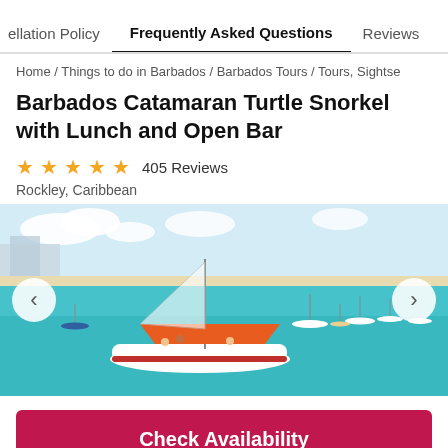ellation Policy   Frequently Asked Questions   Reviews
Home / Things to do in Barbados / Barbados Tours / Tours, Sightse
Barbados Catamaran Turtle Snorkel with Lunch and Open Bar
★★★★★ 405 Reviews
Rockley, Caribbean
[Figure (photo): Aerial view of a catamaran with an orange canopy anchored in clear turquoise Caribbean waters near a white sand beach, with other sailboats in the background.]
Check Availability